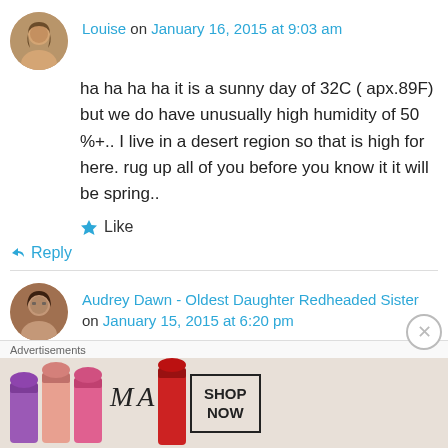Louise on January 16, 2015 at 9:03 am
ha ha ha ha it is a sunny day of 32C ( apx.89F) but we do have unusually high humidity of 50 %+.. I live in a desert region so that is high for here. rug up all of you before you know it it will be spring..
★ Like
↳ Reply
Audrey Dawn - Oldest Daughter Redheaded Sister on January 15, 2015 at 6:20 pm
[Figure (photo): MAC cosmetics advertisement showing lipsticks with SHOP NOW button]